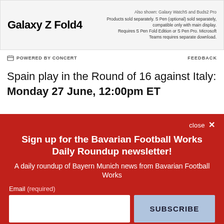[Figure (screenshot): Galaxy Z Fold4 advertisement banner showing product name on left and small product description text on right]
POWERED BY CONCERT   FEEDBACK
Spain play in the Round of 16 against Italy: Monday 27 June, 12:00pm ET
close ✕
Sign up for the Bavarian Football Works Daily Roundup newsletter!
A daily roundup of Bayern Munich news from Bavarian Football Works
Email (required)
SUBSCRIBE
By submitting your email, you agree to our Terms and Privacy Notice. You can opt out at any time. This site is protected by reCAPTCHA and the Google Privacy Policy and Terms of Service apply.